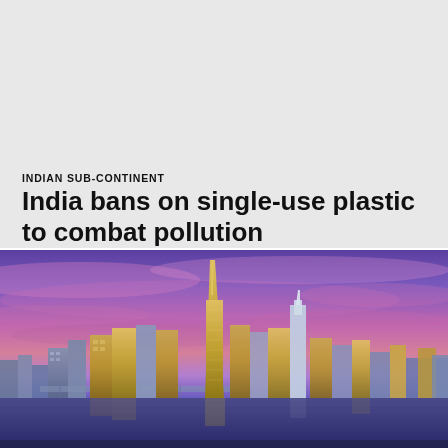INDIAN SUB-CONTINENT
India bans on single-use plastic to combat pollution
[Figure (photo): City skyline at dusk with purple and pink sky, tall skyscrapers including a prominent central tower, reflected in water below — appears to be a modern Gulf city skyline (Dubai-like).]